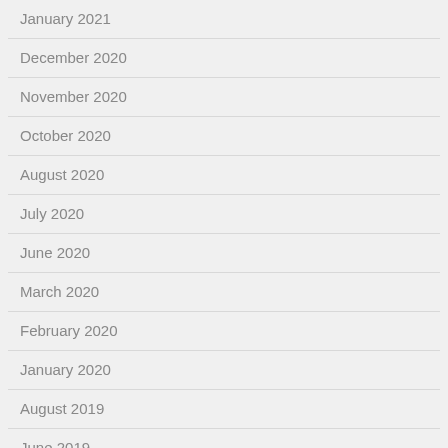January 2021
December 2020
November 2020
October 2020
August 2020
July 2020
June 2020
March 2020
February 2020
January 2020
August 2019
June 2019